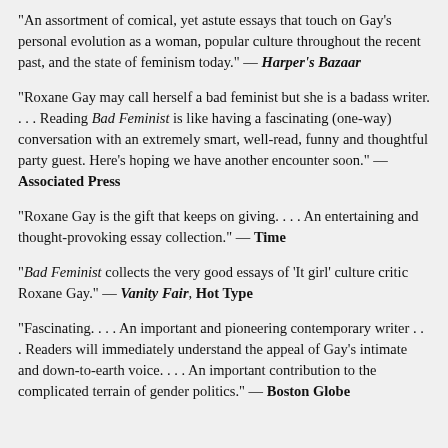“An assortment of comical, yet astute essays that touch on Gay’s personal evolution as a woman, popular culture throughout the recent past, and the state of feminism today.” — Harper’s Bazaar
“Roxane Gay may call herself a bad feminist but she is a badass writer. . . . Reading Bad Feminist is like having a fascinating (one-way) conversation with an extremely smart, well-read, funny and thoughtful party guest. Here’s hoping we have another encounter soon.” — Associated Press
“Roxane Gay is the gift that keeps on giving. . . . An entertaining and thought-provoking essay collection.” — Time
“Bad Feminist collects the very good essays of ‘It girl’ culture critic Roxane Gay.” — Vanity Fair, Hot Type
“Fascinating. . . . An important and pioneering contemporary writer . . . Readers will immediately understand the appeal of Gay’s intimate and down-to-earth voice. . . . An important contribution to the complicated terrain of gender politics.” — Boston Globe